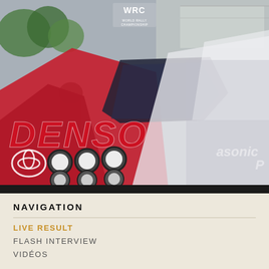[Figure (photo): Toyota WRC rally car with DENSO sponsorship livery in red and white, with Panasonic branding visible on the right side. WRC championship logo visible at top. Car features prominent rally headlights. Scene appears to be at a service park or paddock area with trees and structures visible in background.]
NAVIGATION
LIVE RESULT
FLASH INTERVIEW
VIDÉOS